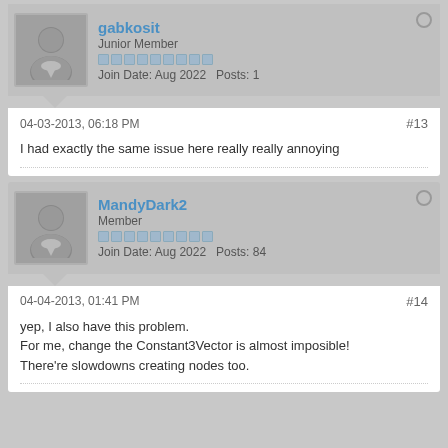gabkosit
Junior Member
Join Date: Aug 2022   Posts: 1
04-03-2013, 06:18 PM
#13
I had exactly the same issue here really really annoying
MandyDark2
Member
Join Date: Aug 2022   Posts: 84
04-04-2013, 01:41 PM
#14
yep, I also have this problem.
For me, change the Constant3Vector is almost imposible!
There're slowdowns creating nodes too.